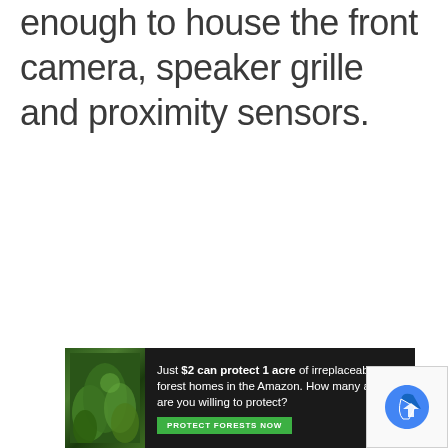enough to house the front camera, speaker grille and proximity sensors.
[Figure (photo): Advertisement banner for Amazon forest protection: dark background with forest imagery on left, text 'Just $2 can protect 1 acre of irreplaceable forest homes in the Amazon. How many acres are you willing to protect?' with a green 'PROTECT FORESTS NOW' button.]
[Figure (logo): reCAPTCHA logo box in bottom right corner showing blue arrow icon.]